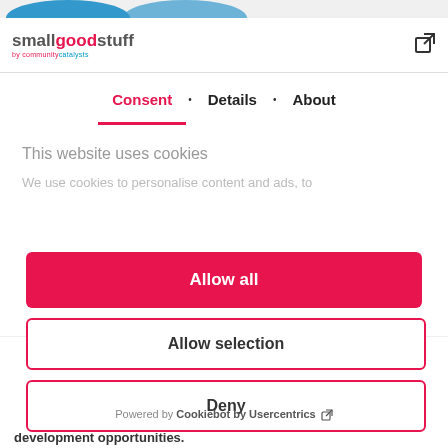[Figure (logo): smallgoodstuff by community catalysts logo with external link icon]
Consent • Details • About
This website uses cookies
We use cookies to personalise content and ads, to
Allow all
Allow selection
Deny
Powered by Cookiebot by Usercentrics
development opportunities.